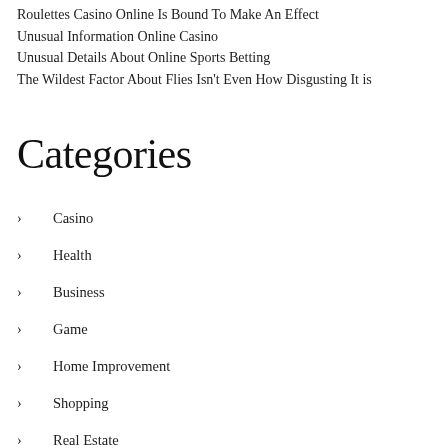Roulettes Casino Online Is Bound To Make An Effect
Unusual Information Online Casino
Unusual Details About Online Sports Betting
The Wildest Factor About Flies Isn’t Even How Disgusting It is
Categories
Casino
Health
Business
Game
Home Improvement
Shopping
Real Estate